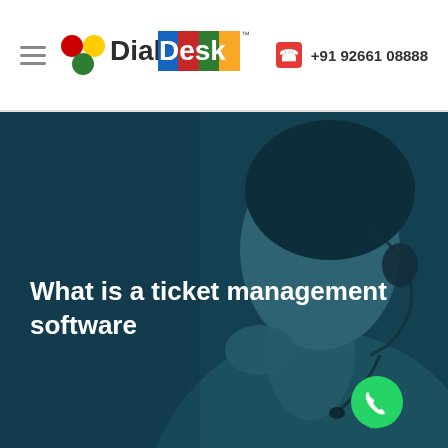[Figure (logo): DialDesk logo with hamburger menu icon on the left and phone contact number on the right in header]
[Figure (photo): Customer service representative wearing a headset, looking upward, with a dark teal blue overlay over the image]
What is a ticket management software
[Figure (illustration): WhatsApp chat bubble icon button in green, positioned at bottom right of hero image]